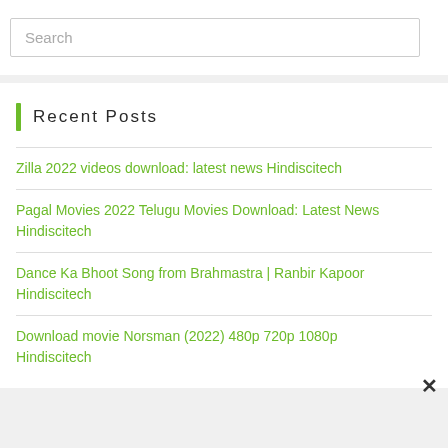Search
Recent Posts
Zilla 2022 videos download: latest news Hindiscitech
Pagal Movies 2022 Telugu Movies Download: Latest News Hindiscitech
Dance Ka Bhoot Song from Brahmastra | Ranbir Kapoor Hindiscitech
Download movie Norsman (2022) 480p 720p 1080p Hindiscitech